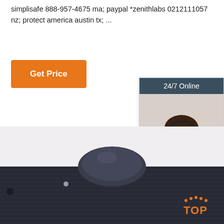simplisafe 888-957-4675 ma; paypal *zenithlabs 0212111057 nz; protect america austin tx; ...
Get Price
[Figure (photo): Customer service widget showing a woman with a headset, header '24/7 Online', footer 'Click here for free chat!' and an orange 'QUOTATION' button]
[Figure (photo): Close-up product photo of a dark nylon strap with a rounded black plastic buckle component, with a 'TOP' logo watermark in orange at the bottom right]